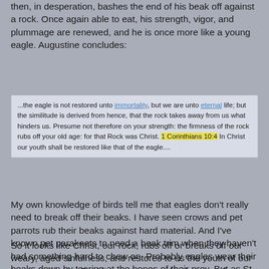then, in desperation, bashes the end of his beak off against a rock. Once again able to eat, his strength, vigor, and plummage are renewed, and he is once more like a young eagle. Augustine concludes:
...the eagle is not restored unto immortality, but we are unto eternal life; but the similitude is derived from hence, that the rock takes away from us what hinders us. Presume not therefore on your strength: the firmness of the rock rubs off your old age: for that Rock was Christ. 1 Corinthians 10:4 In Christ our youth shall be restored like that of the eagle....
My own knowledge of birds tell me that eagles don't really need to break off their beaks. I have seen crows and pet parrots rub their beaks against hard material.  And I've known pet parakeets to need a beak trim when they haven't had something hard to chew on. Probably eagles wear their beaks down by tearing at the bones of their prey.   But as St. Thomas points out, an analogy does not have to be true to be a good analogy.
So it looks like Christ, our rock, rubs off or breaks off our weary, aged sinfulness, and restores to us the youth of our baptismal purity. Enabling us to ascend to heaven. On eagles